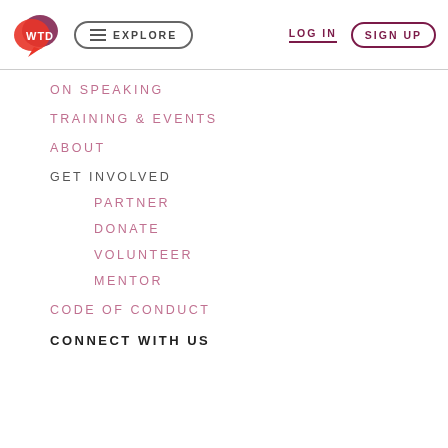WTD | EXPLORE | LOG IN | SIGN UP
ON SPEAKING
TRAINING & EVENTS
ABOUT
GET INVOLVED
PARTNER
DONATE
VOLUNTEER
MENTOR
CODE OF CONDUCT
CONNECT WITH US